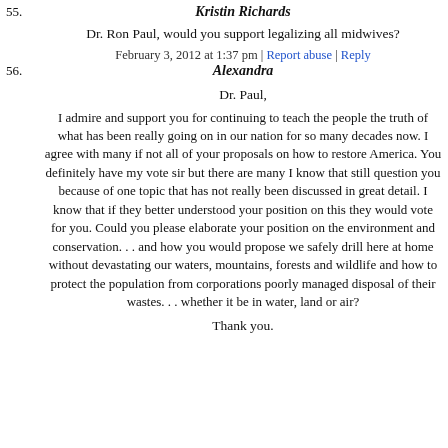55. Kristin Richards
Dr. Ron Paul, would you support legalizing all midwives?
February 3, 2012 at 1:37 pm | Report abuse | Reply
56. Alexandra
Dr. Paul,
I admire and support you for continuing to teach the people the truth of what has been really going on in our nation for so many decades now. I agree with many if not all of your proposals on how to restore America. You definitely have my vote sir but there are many I know that still question you because of one topic that has not really been discussed in great detail. I know that if they better understood your position on this they would vote for you. Could you please elaborate your position on the environment and conservation. . . and how you would propose we safely drill here at home without devastating our waters, mountains, forests and wildlife and how to protect the population from corporations poorly managed disposal of their wastes. . . whether it be in water, land or air?
Thank you.